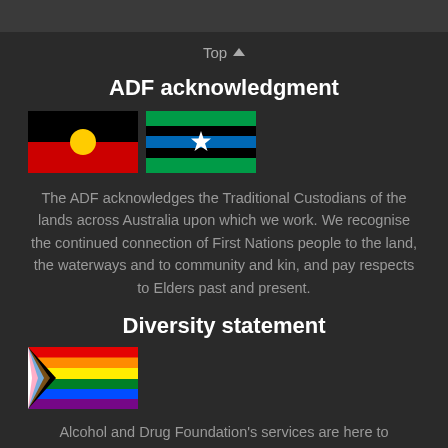Top ^
ADF acknowledgment
[Figure (illustration): Aboriginal flag and Torres Strait Islander flag side by side]
The ADF acknowledges the Traditional Custodians of the lands across Australia upon which we work. We recognise the continued connection of First Nations people to the land, the waterways and to community and kin, and pay respects to Elders past and present.
Diversity statement
[Figure (illustration): Progress Pride flag]
Alcohol and Drug Foundation's services are here to